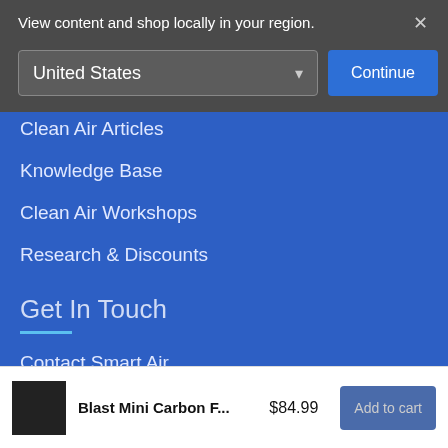View content and shop locally in your region.
×
United States
Continue
Clean Air Articles
Knowledge Base
Clean Air Workshops
Research & Discounts
Get In Touch
Contact Smart Air
Become a Distributor
Blast Mini Carbon F...
$84.99
Add to cart